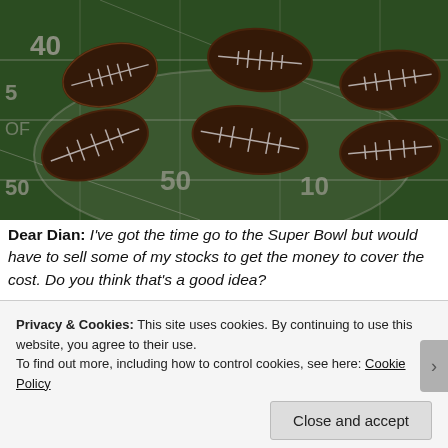[Figure (photo): Photo of chocolate football-shaped cake balls decorated with white icing laces, arranged on a glass plate on a green football field tablecloth with yard line markings.]
Dear Dian: I've got the time go to the Super Bowl but would have to sell some of my stocks to get the money to cover the cost. Do you think that's a good idea?
Privacy & Cookies: This site uses cookies. By continuing to use this website, you agree to their use. To find out more, including how to control cookies, see here: Cookie Policy